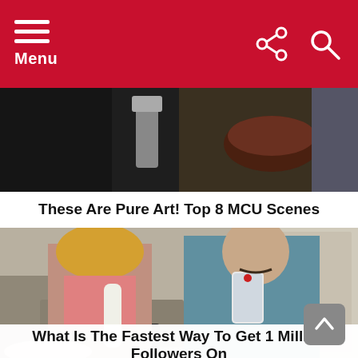Menu
[Figure (photo): Screenshot thumbnail showing MCU movie scene with food/dining]
These Are Pure Art! Top 8 MCU Scenes
[Figure (photo): A woman dressed in a pink costume with blonde hair and white gloves, and a bald man in a teal tracksuit taking a mirror selfie with a phone, in what appears to be a dressing room.]
What Is The Fastest Way To Get 1 Million Followers On